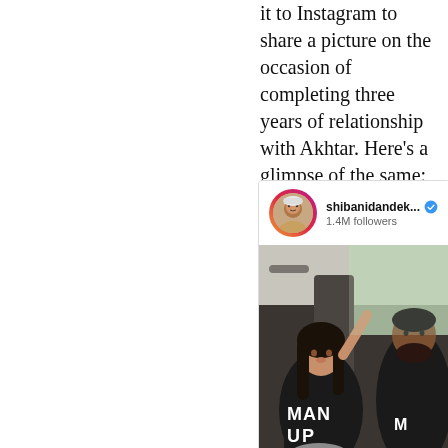it to Instagram to share a picture on the occasion of completing three years of relationship with Akhtar. Here's a glimpse of the same:
[Figure (screenshot): Instagram post screenshot from shibanidandek... account with 1.4M followers showing verified badge. Photo shows a woman and man in a car both wearing dark hoodies with 'MAN UP' text printed on them.]